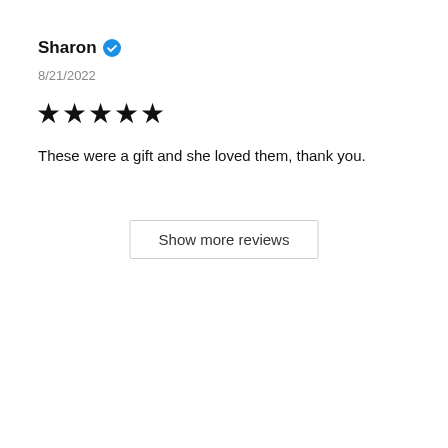Sharon ✓ (verified)
8/21/2022
★★★★★
These were a gift and she loved them, thank you.
Show more reviews